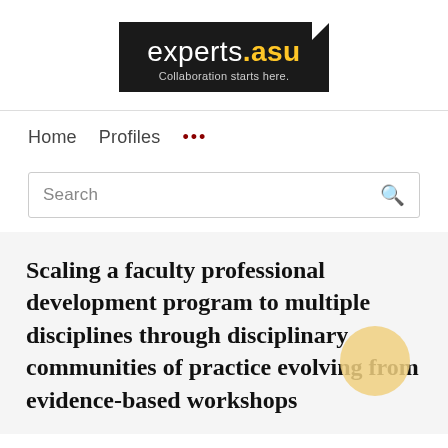[Figure (logo): experts.asu logo — black rectangle with white text 'experts' and gold '.asu', tagline 'Collaboration starts here.' in grey, with a white notch cut from top-right corner]
Home   Profiles   ...
Search
Scaling a faculty professional development program to multiple disciplines through disciplinary communities of practice evolving from evidence-based workshops